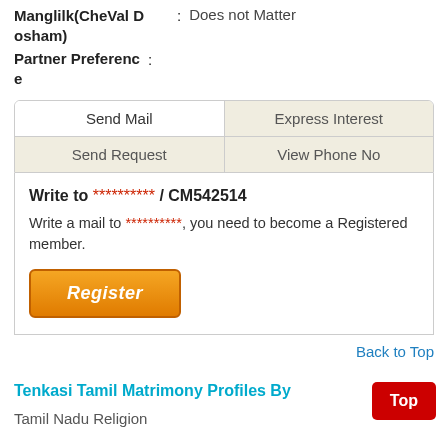Manglilk(CheVal Dosham) : Does not Matter
Partner Preference :
Send Mail | Express Interest | Send Request | View Phone No
Write to ********** / CM542514
Write a mail to **********, you need to become a Registered member.
Register
Back to Top
Tenkasi Tamil Matrimony Profiles By
Tamil Nadu Religion
Top